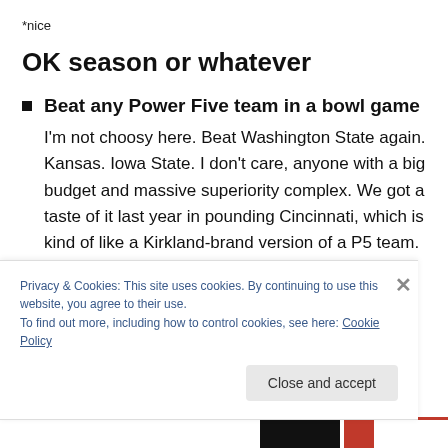*nice
OK season or whatever
Beat any Power Five team in a bowl game
I'm not choosy here. Beat Washington State again. Kansas. Iowa State. I don't care, anyone with a big budget and massive superiority complex. We got a taste of it last year in pounding Cincinnati, which is kind of like a Kirkland-brand version of a P5 team. Now I'm
Privacy & Cookies: This site uses cookies. By continuing to use this website, you agree to their use.
To find out more, including how to control cookies, see here: Cookie Policy